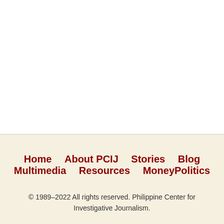Home   About PCIJ   Stories   Blog   Multimedia   Resources   MoneyPolitics
© 1989–2022 All rights reserved. Philippine Center for Investigative Journalism.